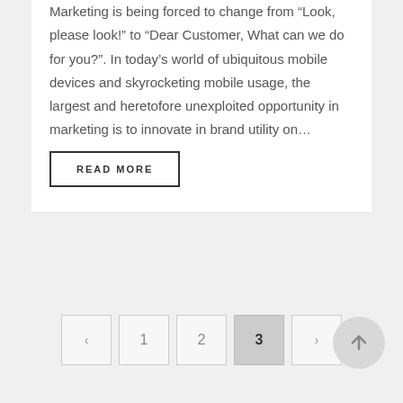Marketing is being forced to change from “Look, please look!” to “Dear Customer, What can we do for you?”. In today’s world of ubiquitous mobile devices and skyrocketing mobile usage, the largest and heretofore unexploited opportunity in marketing is to innovate in brand utility on…
READ MORE
< 1 2 3 >